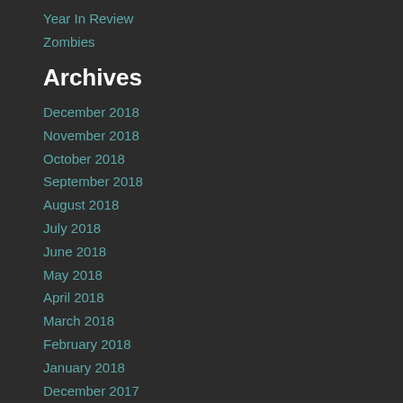Year In Review
Zombies
Archives
December 2018
November 2018
October 2018
September 2018
August 2018
July 2018
June 2018
May 2018
April 2018
March 2018
February 2018
January 2018
December 2017
November 2017
October 2017
September 2017